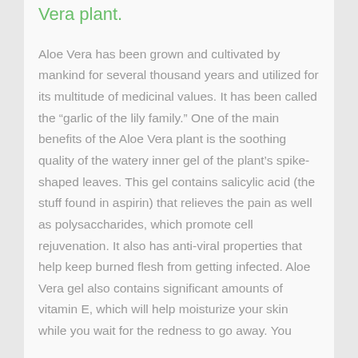Vera plant.
Aloe Vera has been grown and cultivated by mankind for several thousand years and utilized for its multitude of medicinal values. It has been called the “garlic of the lily family.” One of the main benefits of the Aloe Vera plant is the soothing quality of the watery inner gel of the plant’s spike-shaped leaves. This gel contains salicylic acid (the stuff found in aspirin) that relieves the pain as well as polysaccharides, which promote cell rejuvenation. It also has anti-viral properties that help keep burned flesh from getting infected. Aloe Vera gel also contains significant amounts of vitamin E, which will help moisturize your skin while you wait for the redness to go away. You